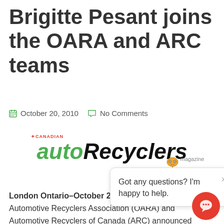Brigitte Pesant joins the OARA and ARC teams
October 20, 2010   No Comments
[Figure (logo): Canadian autoRecyclers magazine logo with green italic 'auto' and black italic 'Recyclers' text]
[Figure (screenshot): Chatbot popup bubble saying 'Got any questions? I'm happy to help.' with a close X button and robot icon]
London Ontario–October 20 2010 – The Ontario Automotive Recyclers Association (OARA) and Automotive Recyclers of Canada (ARC) announced yesterday that Brigitte Pesant has joined their ranks the role of director of business development effective